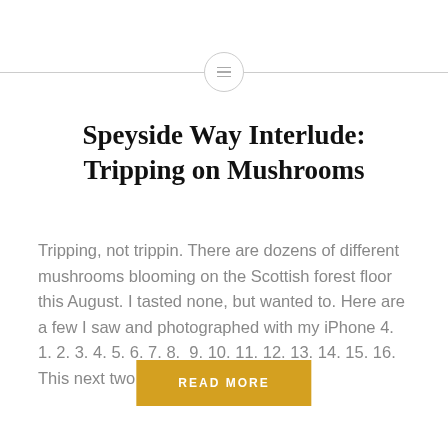[Figure (other): Decorative horizontal divider with a circle icon containing three horizontal lines (hamburger/menu icon) centered between two horizontal lines]
Speyside Way Interlude: Tripping on Mushrooms
Tripping, not trippin. There are dozens of different mushrooms blooming on the Scottish forest floor this August. I tasted none, but wanted to. Here are a few I saw and photographed with my iPhone 4. 1. 2. 3. 4. 5. 6. 7. 8.  9. 10. 11. 12. 13. 14. 15. 16. This next two…
READ MORE